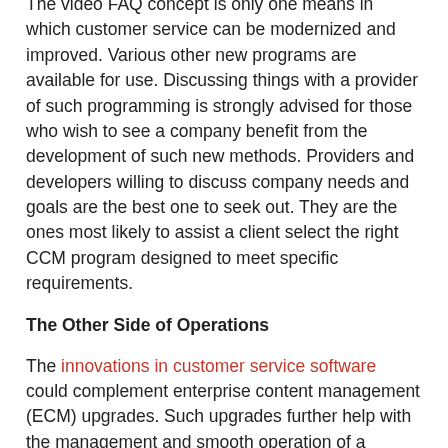The video FAQ concept is only one means in which customer service can be modernized and improved. Various other new programs are available for use. Discussing things with a provider of such programming is strongly advised for those who wish to see a company benefit from the development of such new methods. Providers and developers willing to discuss company needs and goals are the best one to seek out. They are the ones most likely to assist a client select the right CCM program designed to meet specific requirements.
The Other Side of Operations
The innovations in customer service software could complement enterprise content management (ECM) upgrades. Such upgrades further help with the management and smooth operation of a business, traits necessary for maintaining success. This all comes together with the CCM program and, hopefully, leads to further business goal achievements. For more insights, GMC Software has resources and information available on their website.